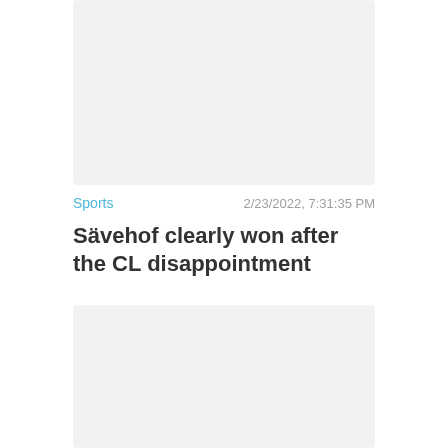[Figure (photo): Top image placeholder with light gray background]
Sports   2/23/2022, 7:31:35 PM
Sävehof clearly won after the CL disappointment
[Figure (photo): Bottom image placeholder with light gray background]